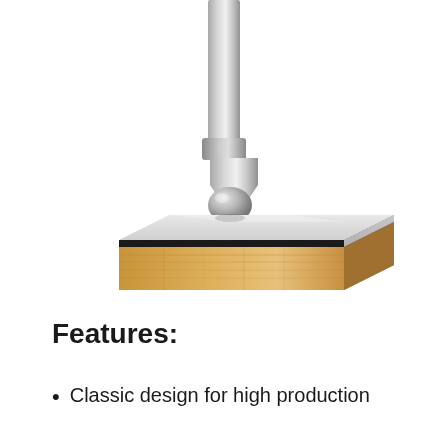[Figure (illustration): A metallic ball-nose end mill router bit positioned above a laminated wood panel. The tool has a cylindrical shank tapering to a ball-nose tip. Below it is a rectangular block showing MDF or particleboard with a thin laminate surface layer on top.]
Features:
Classic design for high production